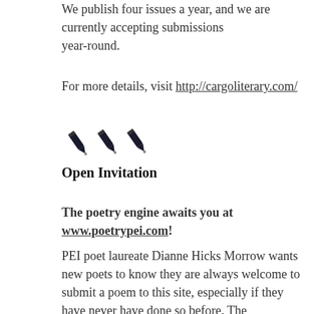We publish four issues a year, and we are currently accepting submissions year-round.
For more details, visit http://cargoliterary.com/
[Figure (illustration): Three decorative pen/pencil icons arranged horizontally as a section divider]
Open Invitation
The poetry engine awaits you at www.poetrypei.com!
PEI poet laureate Dianne Hicks Morrow wants new poets to know they are always welcome to submit a poem to this site, especially if they have never have done so before. The submission form —with complete